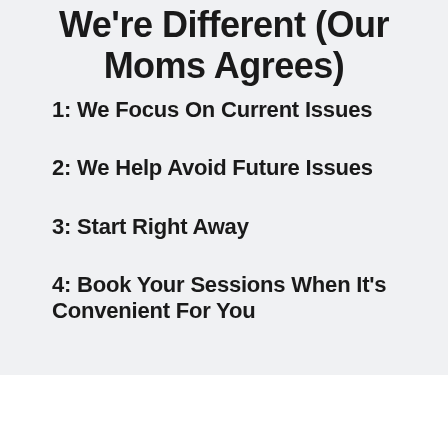We're Different (Our Moms Agrees)
1: We Focus On Current Issues
2: We Help Avoid Future Issues
3: Start Right Away
4: Book Your Sessions When It's Convenient For You